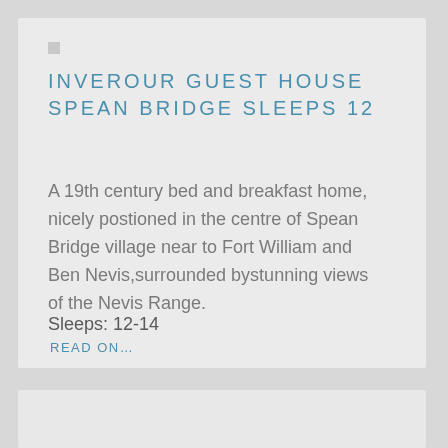INVEROUR GUEST HOUSE SPEAN BRIDGE SLEEPS 12
A 19th century bed and breakfast home, nicely postioned in the centre of Spean Bridge village near to Fort William and Ben Nevis,surrounded bystunning views of the Nevis Range.
Sleeps: 12-14
READ ON...